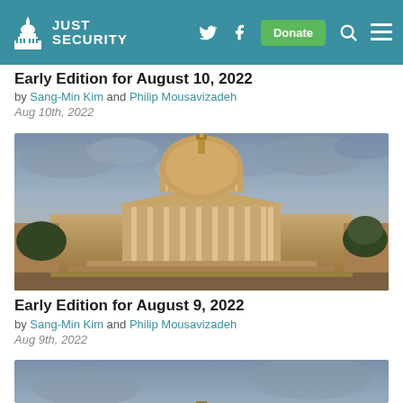Just Security — navigation bar with logo, Twitter, Facebook, Donate, Search, Menu
Early Edition for August 10, 2022
by Sang-Min Kim and Philip Mousavizadeh
Aug 10th, 2022
[Figure (photo): Photograph of the United States Capitol building at golden-hour light with dramatic cloudy sky]
Early Edition for August 9, 2022
by Sang-Min Kim and Philip Mousavizadeh
Aug 9th, 2022
[Figure (photo): Partial photograph of the United States Capitol dome at golden-hour light with cloudy sky (partially cropped at bottom of page)]